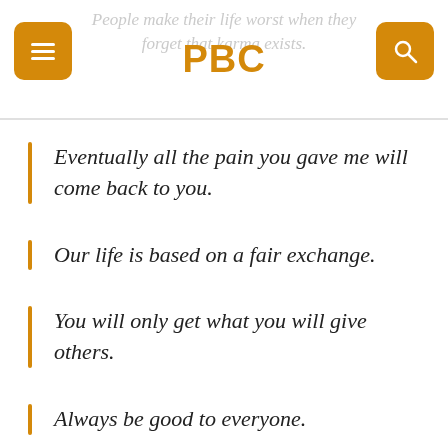PBC
People make their life worst when they forget that karma exists.
Eventually all the pain you gave me will come back to you.
Our life is based on a fair exchange.
You will only get what you will give others.
Always be good to everyone.
Get ready to pay off.
Life will let you get away with something